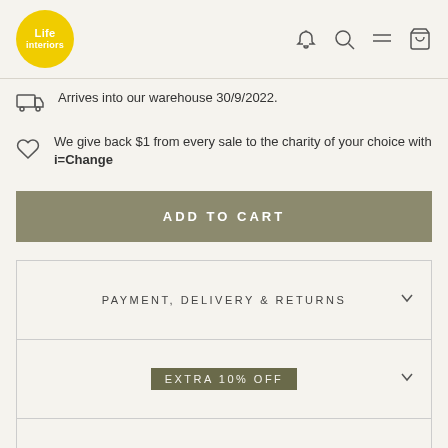[Figure (logo): Life Interiors yellow circular logo]
Arrives into our warehouse 30/9/2022.
We give back $1 from every sale to the charity of your choice with i=Change
ADD TO CART
PAYMENT, DELIVERY & RETURNS
EXTRA 10% OFF
FINISH & CARE
UNDERSTANDING YOUR LEAD TIME
REVIEWS
About us and our store